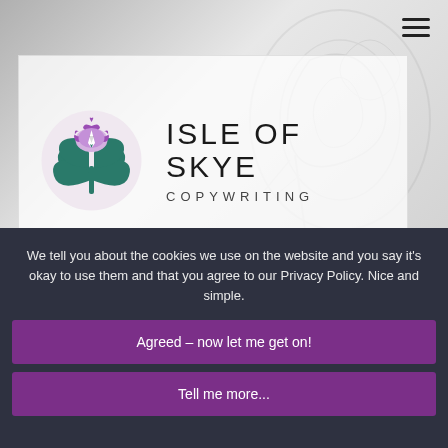[Figure (logo): Isle of Skye Copywriting logo: circular thistle emblem with teal leaves and purple flower containing a white pen nib, beside text 'ISLE OF SKYE COPYWRITING' in thin sans-serif letters]
We tell you about the cookies we use on the website and you say it's okay to use them and that you agree to our Privacy Policy. Nice and simple.
Agreed – now let me get on!
Tell me more...